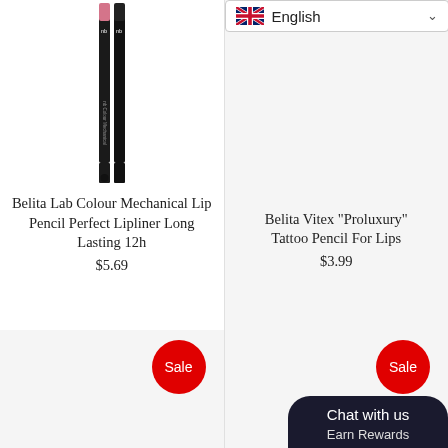[Figure (photo): Two lip liner pencils side by side — one pink-tipped, one black — standing vertically against white background. NB logo visible.]
Belita Lab Colour Mechanical Lip Pencil Perfect Lipliner Long Lasting 12h
$5.69
[Figure (screenshot): English language selector dropdown with UK flag icon and chevron arrow, shown in top-right of right column]
Belita Vitex "Proluxury" Tattoo Pencil For Lips
$3.99
[Figure (other): Sale badge (red circle with 'Sale' text) in bottom-left product tile]
[Figure (other): Sale badge (red circle with 'Sale' text) in bottom-right product tile]
Chat with us
Earn Rewards